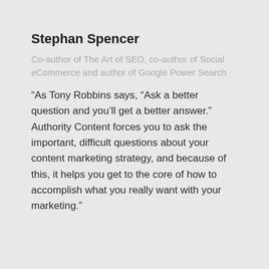Stephan Spencer
Co-author of The Art of SEO, co-author of Social eCommerce and author of Google Power Search
“As Tony Robbins says, “Ask a better question and you’ll get a better answer.” Authority Content forces you to ask the important, difficult questions about your content marketing strategy, and because of this, it helps you get to the core of how to accomplish what you really want with your marketing.”